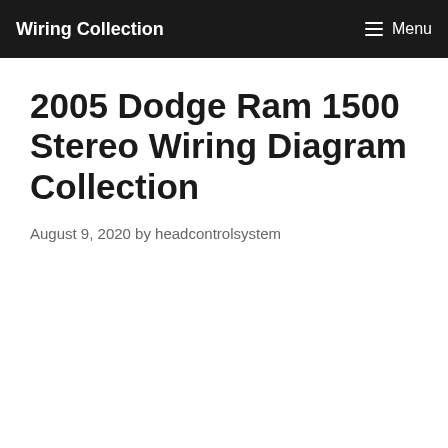Wiring Collection | Menu
2005 Dodge Ram 1500 Stereo Wiring Diagram Collection
August 9, 2020 by headcontrolsystem